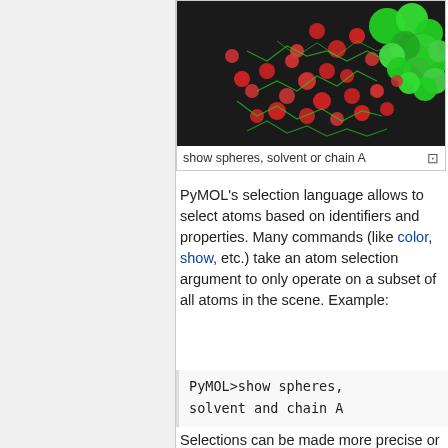[Figure (photo): Molecular visualization showing green and red spheres representing atoms/molecules — solvent and chain A — rendered in PyMOL sphere style against a dark background.]
show spheres, solvent or chain A
PyMOL's selection language allows to select atoms based on identifiers and properties. Many commands (like color, show, etc.) take an atom selection argument to only operate on a subset of all atoms in the scene. Example:
Selections can be made more precise or inclusive by combining them with logical operators, including the boolean and, or,